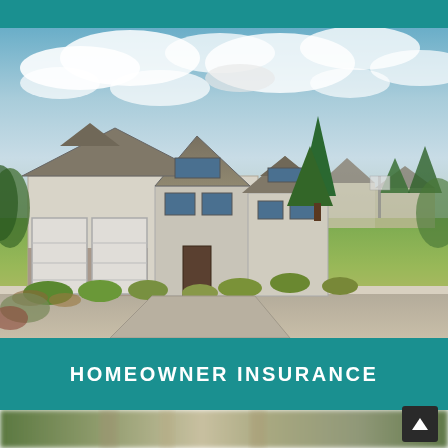[Figure (photo): Exterior photo of a large suburban house with two-car garage, stone accents, manicured lawn and landscaping, green trees, blue sky with clouds]
HOMEOWNER INSURANCE
[Figure (photo): Partial bottom image of blurred forest/trees scene, partially visible]